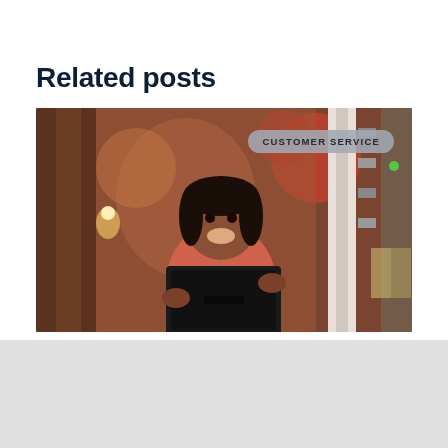Related posts
[Figure (photo): A smiling woman standing behind a POS terminal tablet in a restaurant or cafe setting, with warm bokeh lighting and colorful decor in the background. A 'CUSTOMER SERVICE' badge label appears in the upper right corner of the image.]